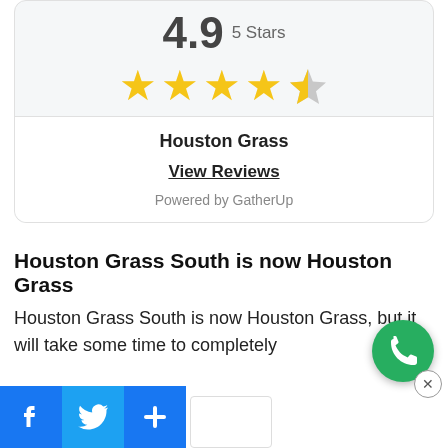[Figure (other): Rating widget showing 4.9 out of 5 stars with 4 full yellow stars and 1 half star, for Houston Grass with a View Reviews link powered by GatherUp]
Houston Grass South is now Houston Grass
Houston Grass South is now Houston Grass, but it will take some time to completely
[Figure (other): Bottom social share bar with Facebook, Twitter, and more buttons, plus a green phone call button and a close button]